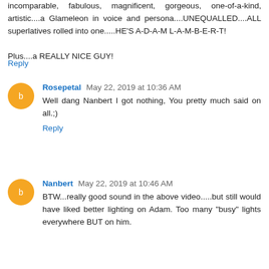incomparable, fabulous, magnificent, gorgeous, one-of-a-kind, artistic....a Glameleon in voice and persona....UNEQUALLED....ALL superlatives rolled into one.....HE'S A-D-A-M L-A-M-B-E-R-T!
Plus....a REALLY NICE GUY!
Reply
Rosepetal May 22, 2019 at 10:36 AM
Well dang Nanbert I got nothing, You pretty much said on all.;)
Reply
Nanbert May 22, 2019 at 10:46 AM
BTW...really good sound in the above video.....but still would have liked better lighting on Adam. Too many "busy" lights everywhere BUT on him.